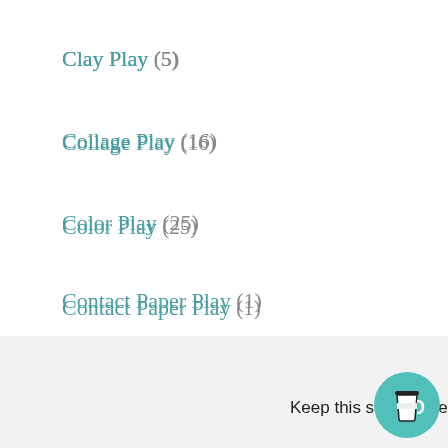Clay Play (5)
Collage Play (16)
Color Play (25)
Contact Paper Play (1)
Crafts (32)
Crafts for Grown Ups (11)
Dinosaurs! (2)
Drawing Pl…
Keep this site Ad-Free